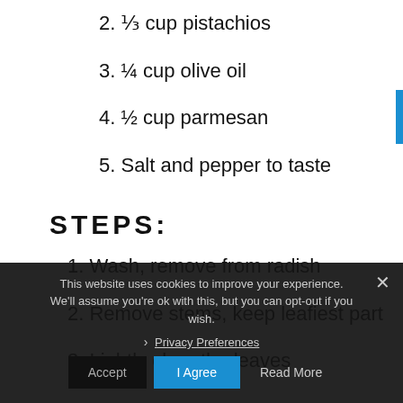2. ⅓ cup pistachios
3. ¼ cup olive oil
4. ½ cup parmesan
5. Salt and pepper to taste
STEPS:
1. Wash, remove from radish
2. Remove stems, keep leafiest part
3. Lightly chop the leaves
This website uses cookies to improve your experience. We'll assume you're ok with this, but you can opt-out if you wish.